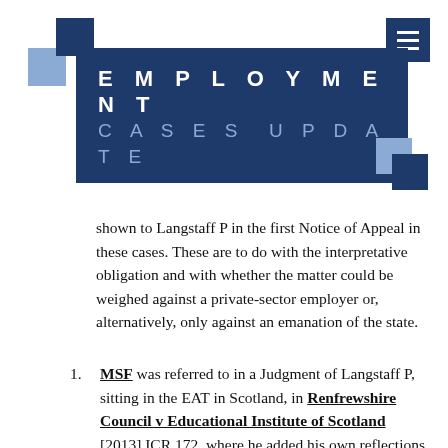[Figure (logo): Two overlapping squares logo in dark navy and light blue]
EMPLOYMENT CASES UPDATE
shown to Langstaff P in the first Notice of Appeal in these cases. These are to do with the interpretative obligation and with whether the matter could be weighed against a private-sector employer or, alternatively, only against an emanation of the state.
MSF was referred to in a Judgment of Langstaff P, sitting in the EAT in Scotland, in Renfrewshire Council v Educational Institute of Scotland [2013] ICR 172, where he added his own reflections on the correctness of